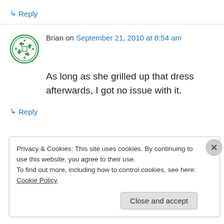↳ Reply
Brian on September 21, 2010 at 8:54 am
As long as she grilled up that dress afterwards, I got no issue with it.
↳ Reply
Privacy & Cookies: This site uses cookies. By continuing to use this website, you agree to their use.
To find out more, including how to control cookies, see here: Cookie Policy
Close and accept